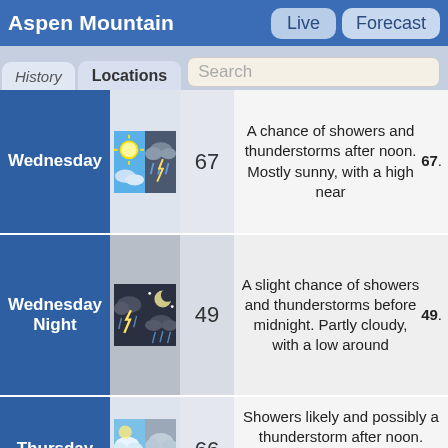Aspen Mountain  Live  Forecast
History  Locations  Search
| Day | Icon | Temp | Description |
| --- | --- | --- | --- |
| Wednesday | [sunny/stormy icon] | 67 | A chance of showers and thunderstorms after noon. Mostly sunny, with a high near 67. |
| Wednesday Night | [night/stormy icon] | 49 | A slight chance of showers and thunderstorms before midnight. Partly cloudy, with a low around 49. |
| Thursday | [cloudy/sunny icon] | 66 | Showers likely and possibly a thunderstorm after noon. Partly sunny, |